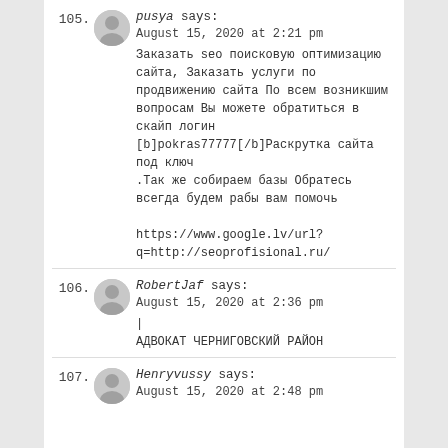105. pusya says: August 15, 2020 at 2:21 pm
Заказать seo поисковую оптимизацию сайта, Заказать услуги по продвижению сайта По всем возникшим вопросам Вы можете обратиться в скайп логин [b]pokras77777[/b]Раскрутка сайта под ключ
.Так же собираем базы Обратесь всегда будем рабы вам помочь
https://www.google.lv/url?q=http://seoprofisional.ru/
106. RobertJaf says: August 15, 2020 at 2:36 pm
|
АДВОКАТ ЧЕРНИГОВСКИЙ РАЙОН
107. Henryvussy says: August 15, 2020 at 2:48 pm